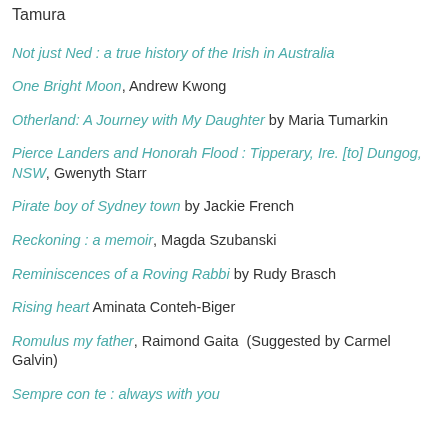Tamura
Not just Ned : a true history of the Irish in Australia
One Bright Moon, Andrew Kwong
Otherland: A Journey with My Daughter by Maria Tumarkin
Pierce Landers and Honorah Flood : Tipperary, Ire. [to] Dungog, NSW, Gwenyth Starr
Pirate boy of Sydney town by Jackie French
Reckoning : a memoir, Magda Szubanski
Reminiscences of a Roving Rabbi by Rudy Brasch
Rising heart Aminata Conteh-Biger
Romulus my father, Raimond Gaita  (Suggested by Carmel Galvin)
Sempre con te : always with you